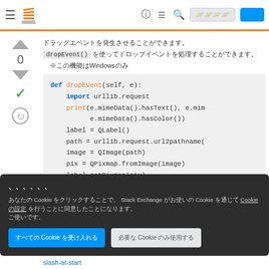[Figure (screenshot): Stack Overflow navigation bar with hamburger menu, logo, icons, and buttons]
dropEvent() を使ってドロップイベントを処理することができます。
※この機能はWindowsのみ
[Figure (screenshot): Python code block showing dropEvent function with urllib.request, print, QLabel, QImage, QPixmap]
Cookieの設定
あなたの Cookie をクリックすることで、Stack Exchange がお使いの Cookie を通じて Cookie の設定 を行うことに同意したことになります。
すべての Cookie を受け入れる  必要な Cookie のみ使用する
slash-at-start